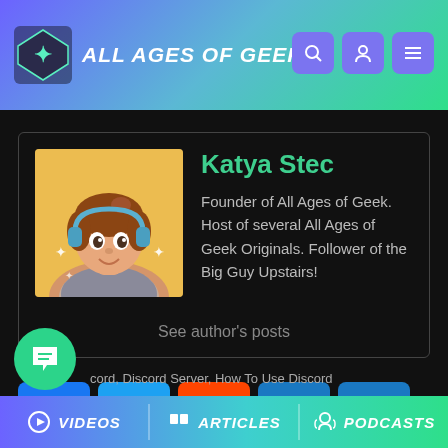ALL AGES OF GEEK
[Figure (illustration): Author avatar: cartoon illustration of a girl with brown hair, headphones, wearing a grey top, with sparkles, on a yellow/orange background]
Katya Stec
Founder of All Ages of Geek. Host of several All Ages of Geek Originals. Follower of the Big Guy Upstairs!
See author's posts
[Figure (infographic): Social share buttons: Facebook, Twitter, Reddit, Email, Plus/More]
cord, Discord Server, How To Use Discord
VIDEOS   ARTICLES   PODCASTS